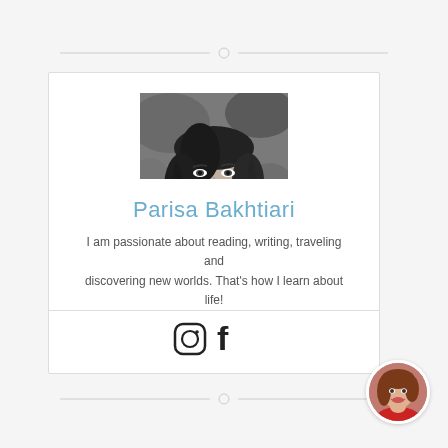[Figure (photo): Black and white portrait photo of a woman wearing a headscarf, looking slightly to the side]
Parisa Bakhtiari
I am passionate about reading, writing, traveling and discovering new worlds. That's how I learn about life!
[Figure (illustration): Instagram and Facebook social media icons]
[Figure (photo): Small circular color portrait photo of a woman with red outfit, smiling]